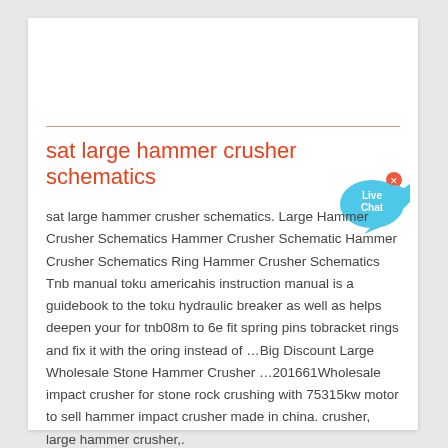sat large hammer crusher schematics
[Figure (illustration): Live Chat button with blue speech bubble and fish shape]
sat large hammer crusher schematics. Large Hammer Crusher Schematics Hammer Crusher Schematic Hammer Crusher Schematics Ring Hammer Crusher Schematics Tnb manual toku americahis instruction manual is a guidebook to the toku hydraulic breaker as well as helps deepen your for tnb08m to 6e fit spring pins tobracket rings and fix it with the oring instead of …Big Discount Large Wholesale Stone Hammer Crusher …201661Wholesale impact crusher for stone rock crushing with 75315kw motor to sell hammer impact crusher made in china. crusher, large hammer crusher,.